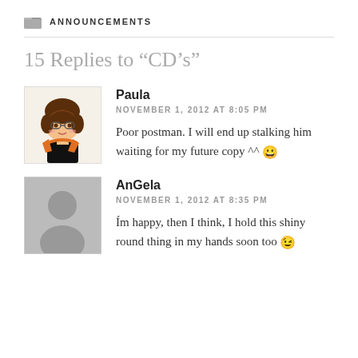ANNOUNCEMENTS
15 Replies to “CD’s”
Paula
NOVEMBER 1, 2012 AT 8:05 PM
Poor postman. I will end up stalking him waiting for my future copy ^^ 😀
AnGela
NOVEMBER 1, 2012 AT 8:35 PM
I'm happy, then I think, I hold this shiny round thing in my hands soon too 😉